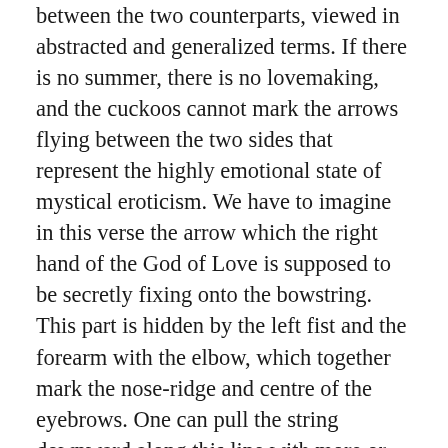between the two counterparts, viewed in abstracted and generalized terms. If there is no summer, there is no lovemaking, and the cuckoos cannot mark the arrows flying between the two sides that represent the highly emotional state of mystical eroticism. We have to imagine in this verse the arrow which the right hand of the God of Love is supposed to be secretly fixing onto the bowstring. This part is hidden by the left fist and the forearm with the elbow, which together mark the nose-ridge and centre of the eyebrows. One can pull the string downward along this line with more or less force, depending upon the tension belonging to the situation. Psychodynamic aspects become revealed in this manner. To try to describe them through definitions or predications would only give us